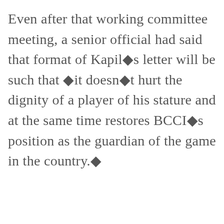Even after that working committee meeting, a senior official had said that format of Kapil◆s letter will be such that ◆it doesn◆t hurt the dignity of a player of his stature and at the same time restores BCCI◆s position as the guardian of the game in the country.◆